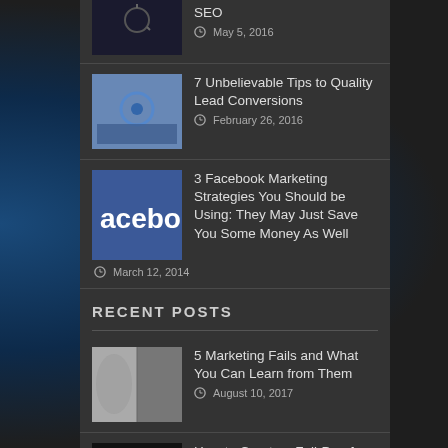SEO — May 5, 2016
7 Unbelievable Tips to Quality Lead Conversions — February 26, 2016
3 Facebook Marketing Strategies You Should be Using: They May Just Save You Some Money As Well — March 12, 2014
RECENT POSTS
5 Marketing Fails and What You Can Learn from Them — August 10, 2017
How to Create a Fail-Proof Social Media Strategy — August 8, 2017